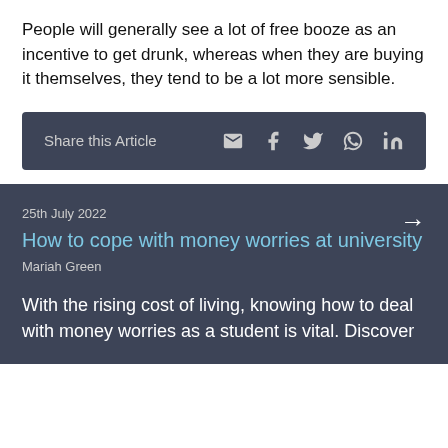People will generally see a lot of free booze as an incentive to get drunk, whereas when they are buying it themselves, they tend to be a lot more sensible.
Share this Article
25th July 2022
How to cope with money worries at university
Mariah Green
With the rising cost of living, knowing how to deal with money worries as a student is vital. Discover